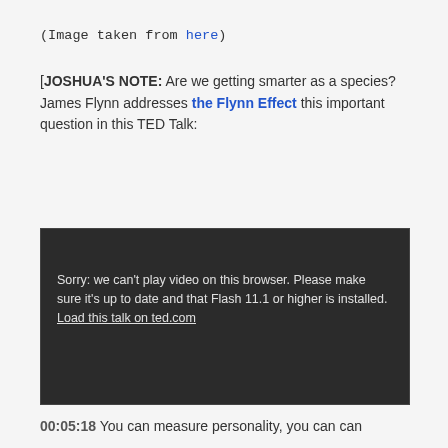(Image taken from here)
[JOSHUA'S NOTE: Are we getting smarter as a species? James Flynn addresses the Flynn Effect this important question in this TED Talk:
[Figure (screenshot): Dark video player box showing error message: 'Sorry: we can't play video on this browser. Please make sure it's up to date and that Flash 11.1 or higher is installed. Load this talk on ted.com']
00:05:18 You can measure personality, you can can